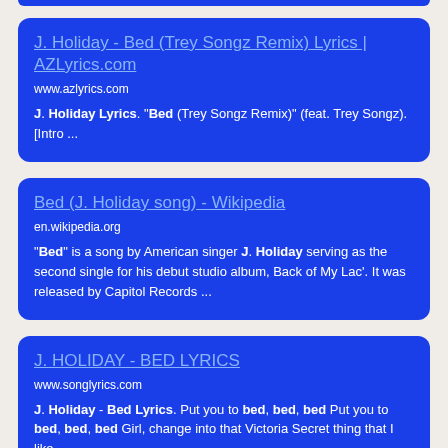[Figure (screenshot): Top blue strip partially visible at top of page]
J. Holiday - Bed (Trey Songz Remix) Lyrics | AZLyrics.com
www.azlyrics.com
J. Holiday Lyrics. "Bed (Trey Songz Remix)" (feat. Trey Songz). [Intro ...
Bed (J. Holiday song) - Wikipedia
en.wikipedia.org
"Bed" is a song by American singer J. Holiday serving as the second single for his debut studio album, Back of My Lac'. It was released by Capitol Records ...
J. HOLIDAY - BED LYRICS
www.songlyrics.com
J. Holiday - Bed Lyrics. Put you to bed, bed, bed Put you to bed, bed, bed Girl, change into that Victoria Secret thing that I like